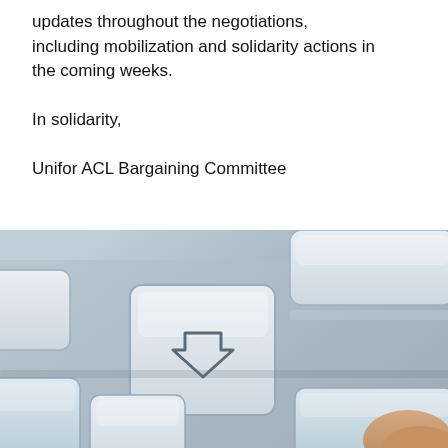updates throughout the negotiations, including mobilization and solidarity actions in the coming weeks.
In solidarity,
Unifor ACL Bargaining Committee
[Figure (photo): Close-up photograph of a light blue/grey computer keyboard with white keys, showing keys including a key with a downward arrow symbol. A finger is partially visible at the bottom right corner.]